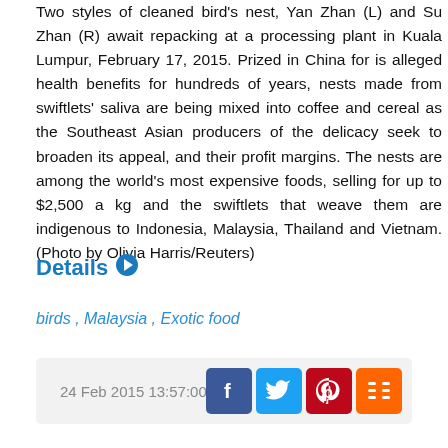Two styles of cleaned bird's nest, Yan Zhan (L) and Su Zhan (R) await repacking at a processing plant in Kuala Lumpur, February 17, 2015. Prized in China for is alleged health benefits for hundreds of years, nests made from swiftlets' saliva are being mixed into coffee and cereal as the Southeast Asian producers of the delicacy seek to broaden its appeal, and their profit margins. The nests are among the world's most expensive foods, selling for up to $2,500 a kg and the swiftlets that weave them are indigenous to Indonesia, Malaysia, Thailand and Vietnam. (Photo by Olivia Harris/Reuters)
Details
birds , Malaysia , Exotic food
24 Feb 2015 13:57:00